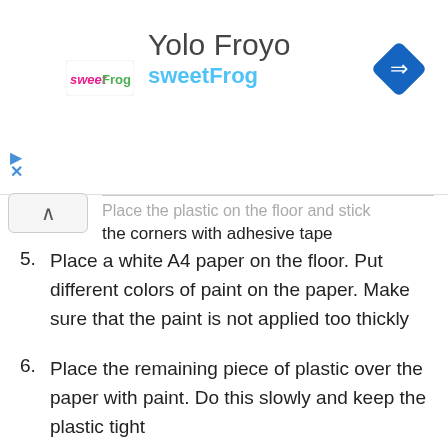[Figure (logo): sweetFrog Yolo Froyo advertisement banner with sweetFrog logo and navigation icon]
Place the plastic on the floor and stick the corners with adhesive tape
5. Place a white A4 paper on the floor. Put different colors of paint on the paper. Make sure that the paint is not applied too thickly
6. Place the remaining piece of plastic over the paper with paint. Do this slowly and keep the plastic tight
7. Stick the edges and sides with plastic. The chance is less that paint will come